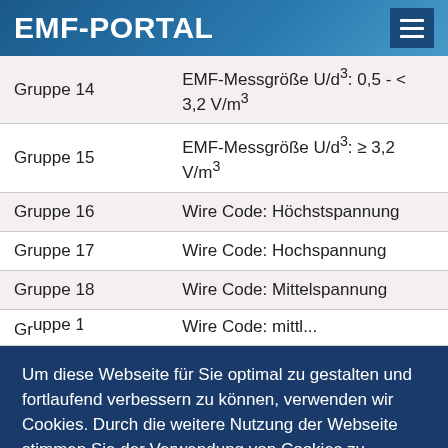EMF-PORTAL
| Gruppe 14 | EMF-Messgröße U/d³: 0,5 - < 3,2 V/m³ |
| Gruppe 15 | EMF-Messgröße U/d³: ≥ 3,2 V/m³ |
| Gruppe 16 | Wire Code: Höchstspannung |
| Gruppe 17 | Wire Code: Hochspannung |
| Gruppe 18 | Wire Code: Mittelspannung |
| Gruppe 19 | Wire Code: mittl... |
Um diese Webseite für Sie optimal zu gestalten und fortlaufend verbessern zu können, verwenden wir Cookies. Durch die weitere Nutzung der Webseite stimmen Sie der Verwendung von Cookies zu.